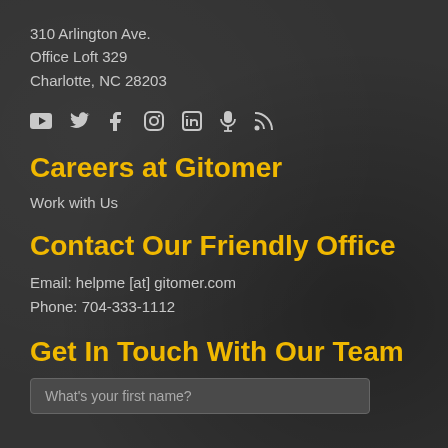310 Arlington Ave.
Office Loft 329
Charlotte, NC 28203
[Figure (infographic): Row of social media icons: YouTube, Twitter, Facebook, Instagram, LinkedIn, Microphone, RSS]
Careers at Gitomer
Work with Us
Contact Our Friendly Office
Email: helpme [at] gitomer.com
Phone: 704-333-1112
Get In Touch With Our Team
What's your first name?